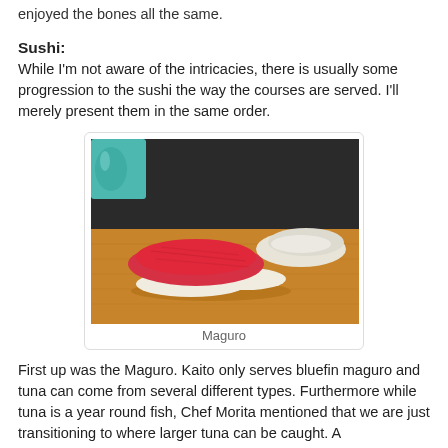enjoyed the bones all the same.
Sushi:
While I'm not aware of the intricacies, there is usually some progression to the sushi the way the courses are served. I'll merely present them in the same order.
[Figure (photo): Two pieces of nigiri sushi (maguro/tuna) on a wooden board, with another piece of lighter-colored nigiri in the background. Dark background. The sushi has bright red-pink tuna on white rice.]
Maguro
First up was the Maguro. Kaito only serves bluefin maguro and tuna can come from several different types. Furthermore while tuna is a year round fish, Chef Morita mentioned that we are just transitioning to where larger tuna can be caught. As a result, the larger tuna are older and have had more time...